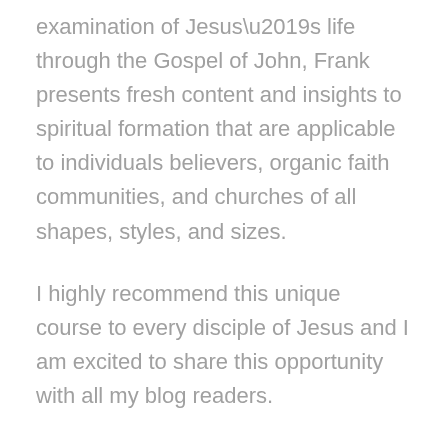examination of Jesus’s life through the Gospel of John, Frank presents fresh content and insights to spiritual formation that are applicable to individuals believers, organic faith communities, and churches of all shapes, styles, and sizes.
I highly recommend this unique course to every disciple of Jesus and I am excited to share this opportunity with all my blog readers.